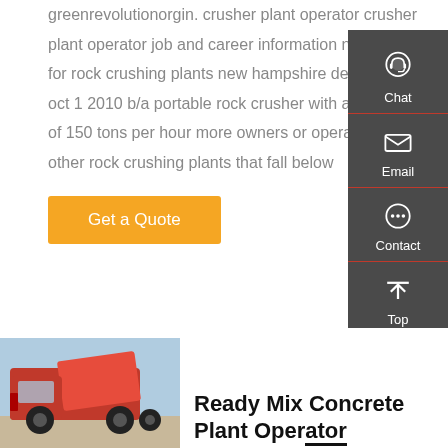greenrevolutionorgin. crusher plant operator crusher plant operator job and career information new rules for rock crushing plants new hampshire department oct 1 2010 b/a portable rock crusher with a capacity of 150 tons per hour more owners or operators of other rock crushing plants that fall below
Get a Quote
[Figure (other): Sidebar with Chat, Email, Contact, and Top navigation icons on dark grey background]
[Figure (photo): Red dump truck / ready mix concrete plant operator vehicle]
Ready Mix Concrete Plant Operator